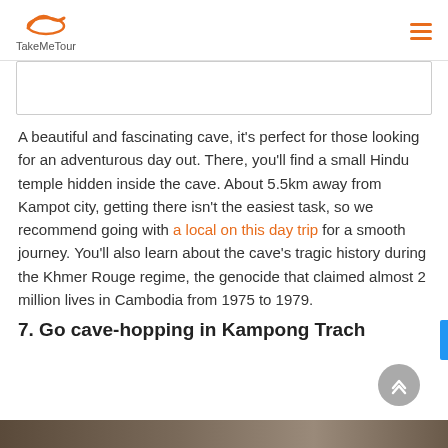TakeMeTour
[Figure (other): Empty content box with border, placeholder for an image or map]
A beautiful and fascinating cave, it's perfect for those looking for an adventurous day out. There, you'll find a small Hindu temple hidden inside the cave. About 5.5km away from Kampot city, getting there isn't the easiest task, so we recommend going with a local on this day trip for a smooth journey. You'll also learn about the cave's tragic history during the Khmer Rouge regime, the genocide that claimed almost 2 million lives in Cambodia from 1975 to 1979.
7. Go cave-hopping in Kampong Trach
[Figure (photo): Bottom strip photo, partially visible, appears to show a natural landscape or cave area]